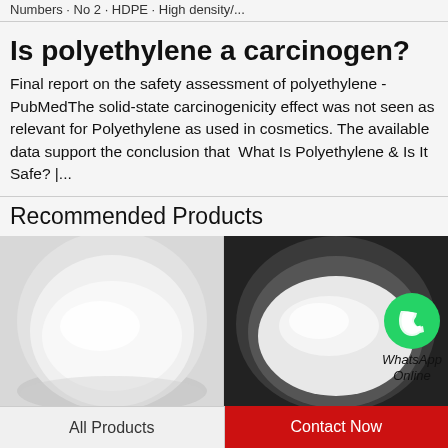Numbers · No 2 · HDPE · High density...
Is polyethylene a carcinogen?
Final report on the safety assessment of polyethylene - PubMedThe solid-state carcinogenicity effect was not seen as relevant for Polyethylene as used in cosmetics. The available data support the conclusion that  What Is Polyethylene & Is It Safe? |...
[Figure (logo): WhatsApp green circle icon with phone handset, labeled WhatsApp Online]
Recommended Products
[Figure (photo): White powder in a glass bowl on light grey background]
[Figure (photo): White powder in a glass bowl on dark background]
All Products
Contact Now